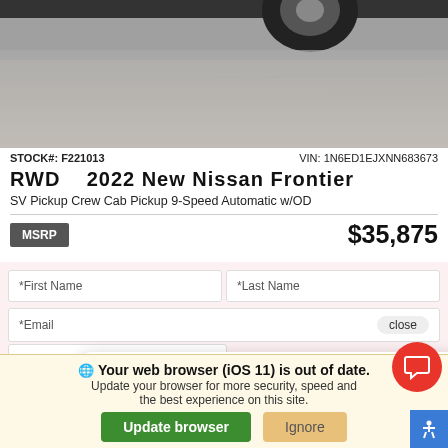[Figure (photo): Partial photo of a vehicle (bottom of car near tire) on pavement, cropped at top of page]
STOCK#: F221013    VIN: 1N6ED1EJXNN683673
RWD   2022 New Nissan Frontier
SV Pickup Crew Cab Pickup 9-Speed Automatic w/OD
MSRP   $35,875
*First Name
*Last Name
*Email   close
Phone
Hi there, have a question? Text us here.
Your web browser (iOS 11) is out of date. Update your browser for more security, speed and the best experience on this site.
Update browser
Ignore